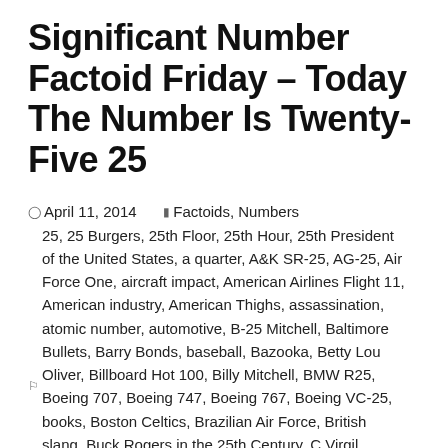Significant Number Factoid Friday – Today The Number Is Twenty-Five 25
April 11, 2014   Factoids, Numbers   25, 25 Burgers, 25th Floor, 25th Hour, 25th President of the United States, a quarter, A&K SR-25, AG-25, Air Force One, aircraft impact, American Airlines Flight 11, American industry, American Thighs, assassination, atomic number, automotive, B-25 Mitchell, Baltimore Bullets, Barry Bonds, baseball, Bazooka, Betty Lou Oliver, Billboard Hot 100, Billy Mitchell, BMW R25, Boeing 707, Boeing 747, Boeing 767, Boeing VC-25, books, Boston Celtics, Brazilian Air Force, British slang, Buck Rogers in the 25th Century, C Virgil Gheorghiu, C25, C25 Standard RV, Cantonese Chinese, car rental, Carlsson C25 Supercar, Charles Messier, China Air Force, Christmas Day, civil war, Cleveland Cavaliers, Colonel